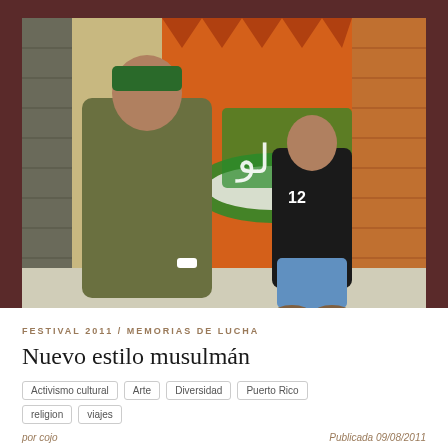[Figure (photo): Two men standing in front of a colorful mural with Arabic-style graffiti on an orange brick wall. The man in the foreground wears an olive green t-shirt and a green bandana. Behind him is a man wearing a black jersey with number 12 and blue shorts.]
FESTIVAL 2011 / MEMORIAS DE LUCHA
Nuevo estilo musulmán
Activismo cultural
Arte
Diversidad
Puerto Rico
religion
viajes
por cojo
Publicada 09/08/2011